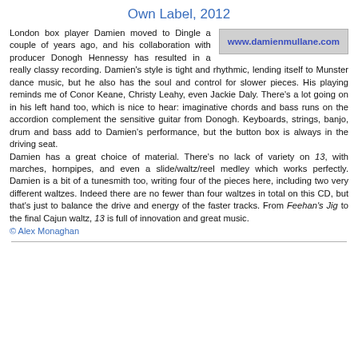Own Label, 2012
London box player Damien moved to Dingle a couple of years ago, and his collaboration with producer Donogh Hennessy has resulted in a really classy recording. Damien's style is tight and rhythmic, lending itself to Munster dance music, but he also has the soul and control for slower pieces. His playing reminds me of Conor Keane, Christy Leahy, even Jackie Daly. There's a lot going on in his left hand too, which is nice to hear: imaginative chords and bass runs on the accordion complement the sensitive guitar from Donogh. Keyboards, strings, banjo, drum and bass add to Damien's performance, but the button box is always in the driving seat. Damien has a great choice of material. There's no lack of variety on 13, with marches, hornpipes, and even a slide/waltz/reel medley which works perfectly. Damien is a bit of a tunesmith too, writing four of the pieces here, including two very different waltzes. Indeed there are no fewer than four waltzes in total on this CD, but that's just to balance the drive and energy of the faster tracks. From Feehan's Jig to the final Cajun waltz, 13 is full of innovation and great music.
www.damienmullane.com
© Alex Monaghan